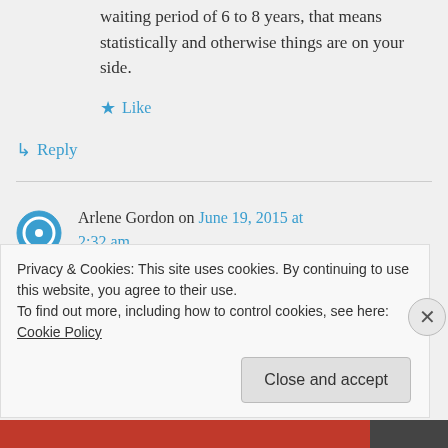waiting period of 6 to 8 years, that means statistically and otherwise things are on your side.
★ Like
↳ Reply
Arlene Gordon on June 19, 2015 at 2:32 am
Sorry I think the fistulas are
Privacy & Cookies: This site uses cookies. By continuing to use this website, you agree to their use. To find out more, including how to control cookies, see here: Cookie Policy
Close and accept